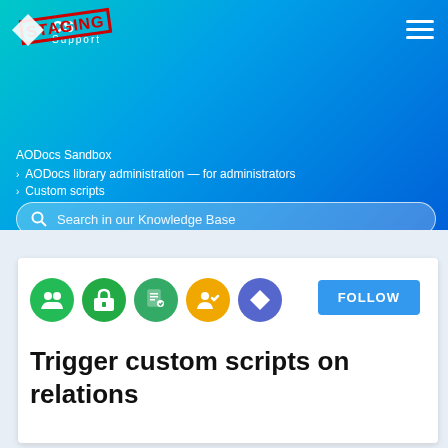[Figure (screenshot): AODocs Support site header with STAGING watermark, gradient blue-teal background, logo, hamburger menu, breadcrumb navigation, and search bar]
AODocs Sandbox
AODocs library administration — for administrators
Custom scripts
Search in our Knowledge Base
[Figure (infographic): Five colored circular icons: green library icon, green locked folder icon, green document icon, orange people/admin icon, blue AODocs diamond icon]
FOLLOW
Trigger custom scripts on relations